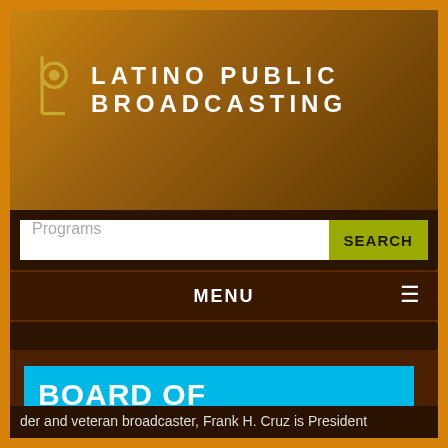[Figure (logo): Latino Public Broadcasting logo — stylized 'p' and 'L' symbol in gold/brown tones with text LATINO PUBLIC BROADCASTING in white]
Programs
SEARCH
MENU
BOARD OF DIRECTORS
Frank H. Cruz
President
Cruz and Associates
A business leader and veteran broadcaster, Frank H. Cruz is President